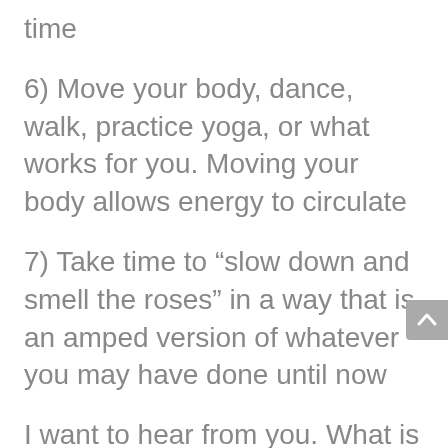time
6) Move your body, dance, walk, practice yoga, or what works for you. Moving your body allows energy to circulate
7) Take time to “slow down and smell the roses” in a way that is an amped version of whatever you may have done until now
I want to hear from you. What is your experience being like? Are you keeping a schedule? Is it easy for you to eat healthily or are you eating